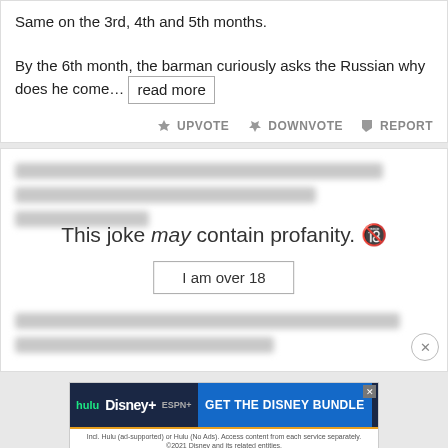Same on the 3rd, 4th and 5th months. By the 6th month, the barman curiously asks the Russian why does he come… read more
UPVOTE  DOWNVOTE  REPORT
[Figure (screenshot): Blurred joke content with profanity warning overlay: 'This joke may contain profanity.' with an 'I am over 18' button and a close (X) button.]
[Figure (infographic): Hulu Disney+ ESPN+ advertisement banner: GET THE DISNEY BUNDLE. Incl. Hulu (ad-supported) or Hulu (No Ads). Access content from each service separately. ©2021 Disney and its related entities.]